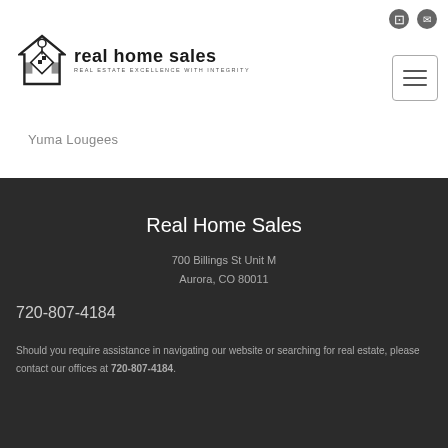[Figure (logo): Real Home Sales logo with house/key icon and text 'real home sales - REAL ESTATE EXCELLENCE WITH INTEGRITY']
Yuma Lougees
Real Home Sales
700 Billings St Unit M
Aurora, CO 80011
720-807-4184
Should you require assistance in navigating our website or searching for real estate, please contact our offices at 720-807-4184.